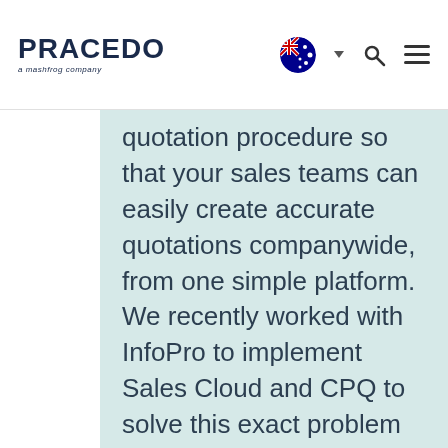PRACEDO – a mashfrog company [nav bar with Australian flag, search icon, hamburger menu]
quotation procedure so that your sales teams can easily create accurate quotations companywide, from one simple platform. We recently worked with InfoPro to implement Sales Cloud and CPQ to solve this exact problem where